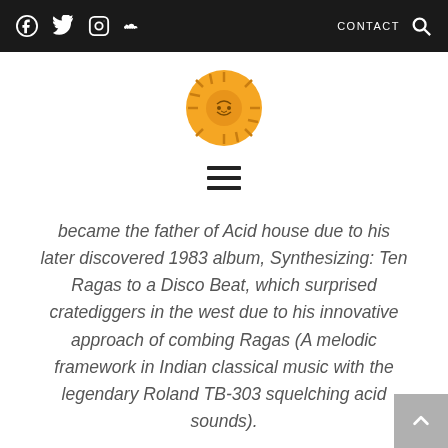Navigation bar with social icons (Facebook, Twitter, Instagram, SoundCloud), CONTACT, and search icon
[Figure (logo): Orange circular sun/deity logo with rays and a central face symbol]
[Figure (other): Hamburger menu icon with three horizontal lines]
became the father of Acid house due to his later discovered 1983 album, Synthesizing: Ten Ragas to a Disco Beat, which surprised cratediggers in the west due to his innovative approach of combing Ragas (A melodic framework in Indian classical music with the legendary Roland TB-303 squelching acid sounds).